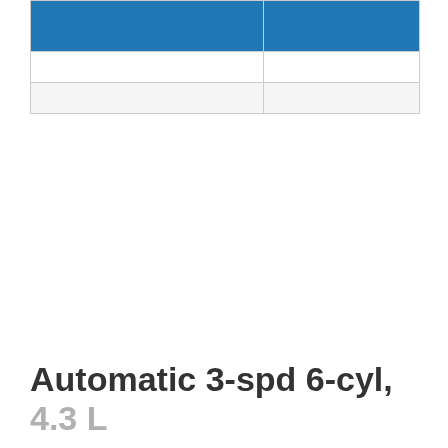|  |  |
|  |  |
|  |  |
Automatic 3-spd 6-cyl, 4.3 L